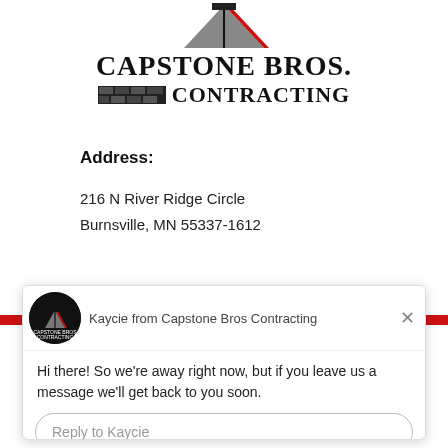[Figure (logo): Capstone Bros. Contracting logo with red/gray roof graphic above the company name and brick pattern bar]
Address:
216 N River Ridge Circle
Burnsville, MN 55337-1612
Ph...
[Figure (screenshot): Chat popup overlay from Drift showing message from Kaycie from Capstone Bros Contracting: 'Hi there! So we're away right now, but if you leave us a message we'll get back to you soon.' with a Reply to Kaycie input box and 'Chat by Drift' footer]